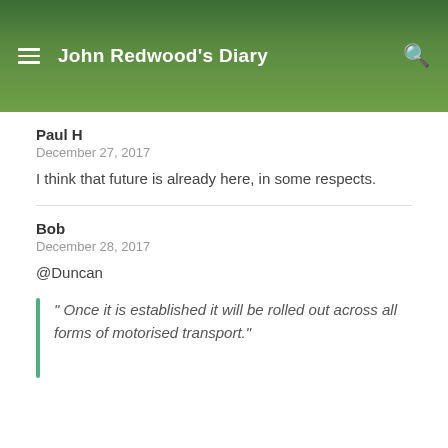John Redwood's Diary
Paul H
December 27, 2017
I think that future is already here, in some respects.
Bob
December 28, 2017
@Duncan
" Once it is established it will be rolled out across all forms of motorised transport."